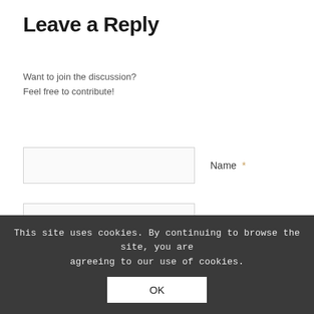Leave a Reply
Want to join the discussion?
Feel free to contribute!
Name *
Email *
Website
This site uses cookies. By continuing to browse the site, you are agreeing to our use of cookies.
OK